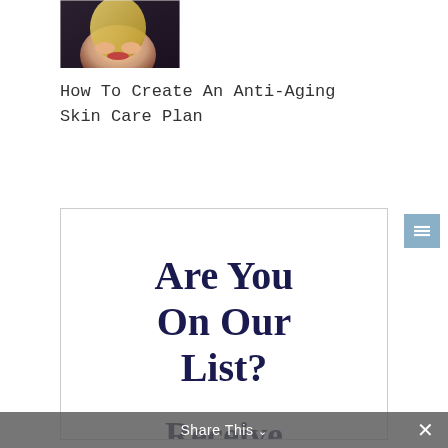[Figure (photo): Partial photo of a woman with blonde hair and red lips against a dark background, cropped to show face/hair area]
How To Create An Anti-Aging Skin Care Plan
[Figure (infographic): White signup box with dark navy serif text reading 'Are You On Our List?' followed by 'Receive New Posts' in large bold serif font]
Share This ˅  ✕